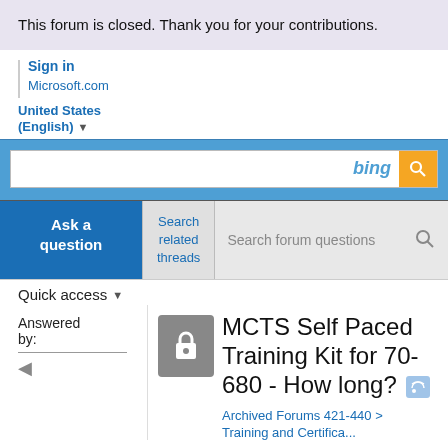This forum is closed. Thank you for your contributions.
Sign in
Microsoft.com
United States (English)
[Figure (screenshot): Bing search bar with orange search button]
Ask a question
Search related threads
Search forum questions
Quick access
Answered by:
MCTS Self Paced Training Kit for 70-680 - How long?
Archived Forums 421-440 >